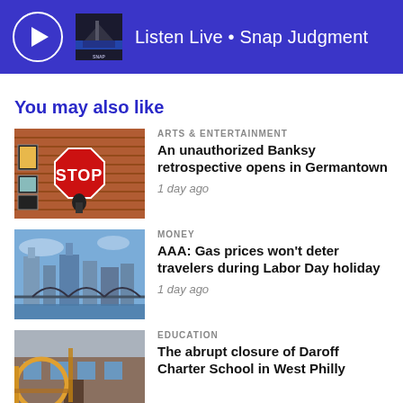Listen Live • Snap Judgment
You may also like
[Figure (photo): Banksy art on brick wall with STOP sign]
ARTS & ENTERTAINMENT
An unauthorized Banksy retrospective opens in Germantown
1 day ago
[Figure (photo): Philadelphia city skyline with bridge]
MONEY
AAA: Gas prices won't deter travelers during Labor Day holiday
1 day ago
[Figure (photo): School building exterior with pipes]
EDUCATION
The abrupt closure of Daroff Charter School in West Philly